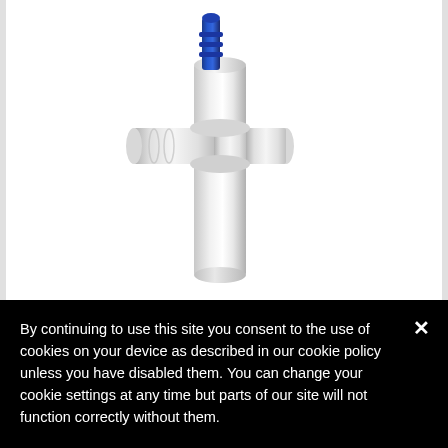[Figure (photo): A white plastic T-shaped pipe fitting or valve assembly with a blue connector/fitting inserted at the top. The device has a vertical cylindrical body with a horizontal cylindrical arm, and a small blue barbed fitting protruding from the top-left. Set against a white background.]
By continuing to use this site you consent to the use of cookies on your device as described in our cookie policy unless you have disabled them. You can change your cookie settings at any time but parts of our site will not function correctly without them.